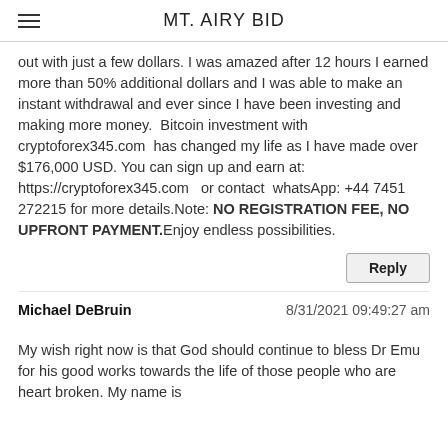MT. AIRY BID
out with just a few dollars. I was amazed after 12 hours I earned more than 50% additional dollars and I was able to make an instant withdrawal and ever since I have been investing and making more money.  Bitcoin investment with cryptoforex345.com  has changed my life as I have made over $176,000 USD. You can sign up and earn at: https://cryptoforex345.com   or contact  whatsApp: +44 7451 272215 for more details.Note: NO REGISTRATION FEE, NO UPFRONT PAYMENT.Enjoy endless possibilities.
Reply
Michael DeBruin   8/31/2021 09:49:27 am
My wish right now is that God should continue to bless Dr Emu for his good works towards the life of those people who are heart broken. My name is